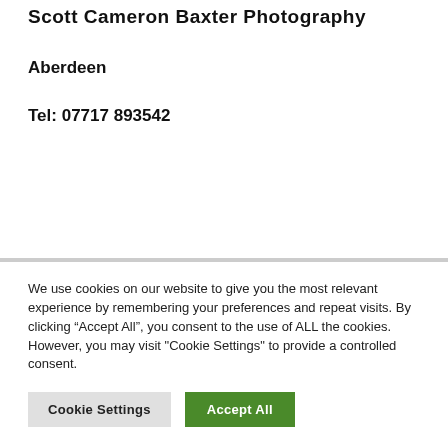Scott Cameron Baxter Photography
Aberdeen
Tel: 07717 893542
We use cookies on our website to give you the most relevant experience by remembering your preferences and repeat visits. By clicking “Accept All”, you consent to the use of ALL the cookies. However, you may visit "Cookie Settings" to provide a controlled consent.
Cookie Settings
Accept All